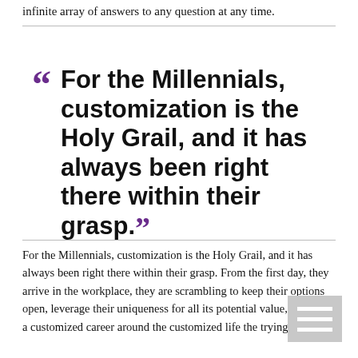infinite array of answers to any question at any time.
“For the Millennials, customization is the Holy Grail, and it has always been right there within their grasp.”
For the Millennials, customization is the Holy Grail, and it has always been right there within their grasp. From the first day, they arrive in the workplace, they are scrambling to keep their options open, leverage their uniqueness for all its potential value, and wrap a customized career around the customized life they trying to build.